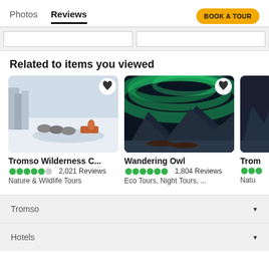Photos  Reviews  BOOK A TOUR
Related to items you viewed
[Figure (photo): Dog sledding in snowy landscape, Tromso Wilderness]
Tromso Wilderness C...
2,021 Reviews
Nature & Wildlife Tours
[Figure (photo): Northern lights aurora borealis over snowy mountains, people lying on ground watching]
Wandering Owl
1,804 Reviews
Eco Tours, Night Tours, ...
[Figure (photo): Partially visible third card, Trom... Natu...]
Tromso
Hotels